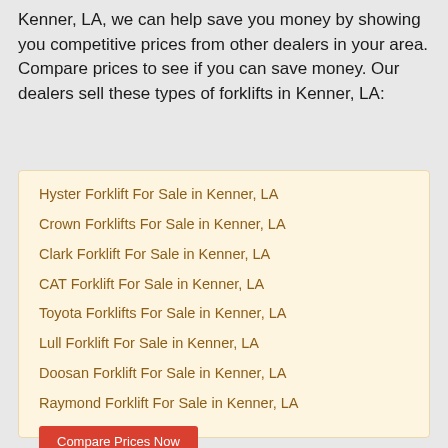Kenner, LA, we can help save you money by showing you competitive prices from other dealers in your area. Compare prices to see if you can save money. Our dealers sell these types of forklifts in Kenner, LA:
Hyster Forklift For Sale in Kenner, LA
Crown Forklifts For Sale in Kenner, LA
Clark Forklift For Sale in Kenner, LA
CAT Forklift For Sale in Kenner, LA
Toyota Forklifts For Sale in Kenner, LA
Lull Forklift For Sale in Kenner, LA
Doosan Forklift For Sale in Kenner, LA
Raymond Forklift For Sale in Kenner, LA
Compare Prices Now